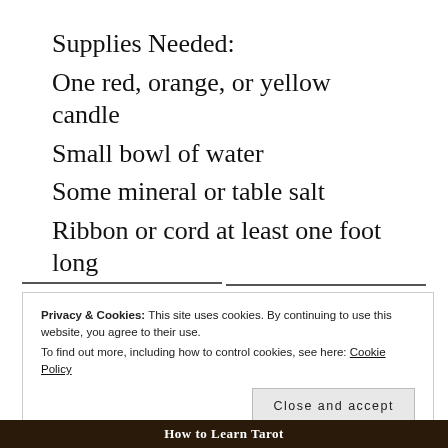Supplies Needed:
One red, orange, or yellow candle
Small bowl of water
Some mineral or table salt
Ribbon or cord at least one foot long
This ritual will be presented on Zoom. Here is the Zoom link.
Privacy & Cookies: This site uses cookies. By continuing to use this website, you agree to their use.
To find out more, including how to control cookies, see here: Cookie Policy
[Figure (screenshot): Bottom image strip showing 'How to Learn Tarot' text on dark background]